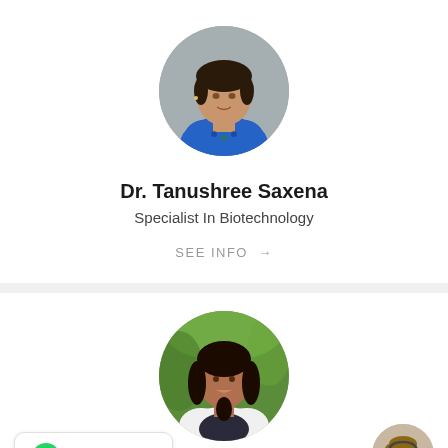[Figure (photo): Circular profile photo of Dr. Tanushree Saxena, a woman in a blue patterned top against a grey background]
Dr. Tanushree Saxena
Specialist In Biotechnology
SEE INFO →
[Figure (photo): Circular profile photo of Dr. Nupur Nagwekar, a woman with long dark hair smiling, against a green background]
Dr. Nupur Nagwekar
[Figure (photo): Chat with Us button with WhatsApp green icon on the left]
[Figure (photo): Small circular support agent avatar in bottom right corner]